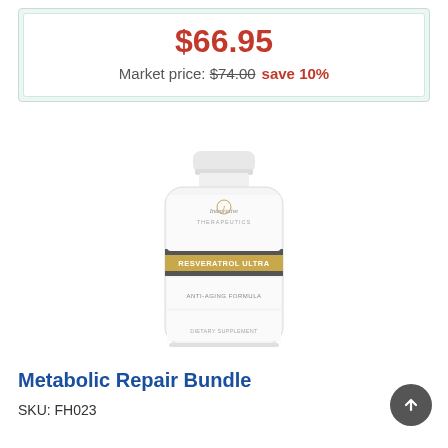$66.95
Market price: $74.00 save 10%
[Figure (photo): White supplement bottle labeled 'Integrative Therapeutics - Resveratrol Ultra - Anti-Aging Formula - Dietary Supplement']
Metabolic Repair Bundle
SKU: FH023